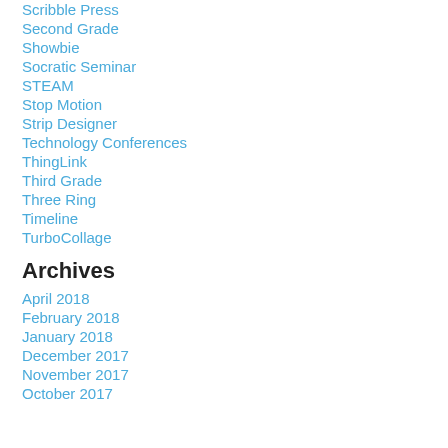Scribble Press
Second Grade
Showbie
Socratic Seminar
STEAM
Stop Motion
Strip Designer
Technology Conferences
ThingLink
Third Grade
Three Ring
Timeline
TurboCollage
Archives
April 2018
February 2018
January 2018
December 2017
November 2017
October 2017